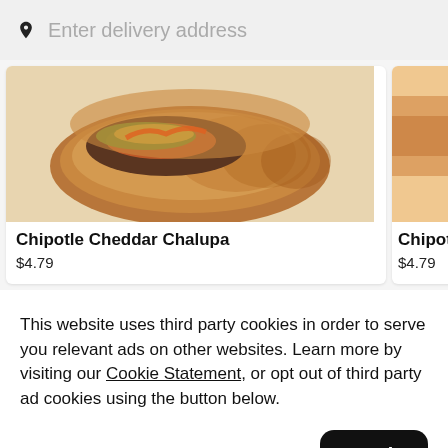Enter delivery address
[Figure (photo): Photo of Chipotle Cheddar Chalupa food item]
Chipotle Cheddar Chalupa
$4.79
[Figure (photo): Partial photo of another Chipotle item]
Chipot
$4.79
This website uses third party cookies in order to serve you relevant ads on other websites. Learn more by visiting our Cookie Statement, or opt out of third party ad cookies using the button below.
Opt out
Got it